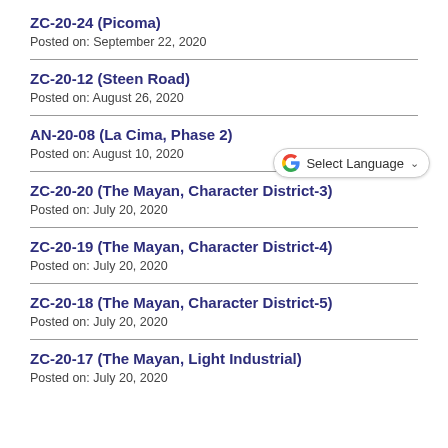ZC-20-24 (Picoma)
Posted on: September 22, 2020
ZC-20-12 (Steen Road)
Posted on: August 26, 2020
AN-20-08 (La Cima, Phase 2)
Posted on: August 10, 2020
ZC-20-20 (The Mayan, Character District-3)
Posted on: July 20, 2020
ZC-20-19 (The Mayan, Character District-4)
Posted on: July 20, 2020
ZC-20-18 (The Mayan, Character District-5)
Posted on: July 20, 2020
ZC-20-17 (The Mayan, Light Industrial)
Posted on: July 20, 2020